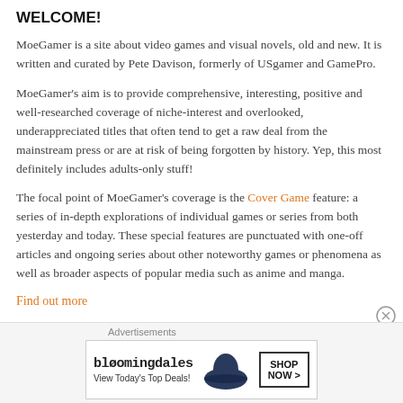WELCOME!
MoeGamer is a site about video games and visual novels, old and new. It is written and curated by Pete Davison, formerly of USgamer and GamePro.
MoeGamer's aim is to provide comprehensive, interesting, positive and well-researched coverage of niche-interest and overlooked, underappreciated titles that often tend to get a raw deal from the mainstream press or are at risk of being forgotten by history. Yep, this most definitely includes adults-only stuff!
The focal point of MoeGamer's coverage is the Cover Game feature: a series of in-depth explorations of individual games or series from both yesterday and today. These special features are punctuated with one-off articles and ongoing series about other noteworthy games or phenomena as well as broader aspects of popular media such as anime and manga.
Find out more
[Figure (other): Bloomingdale's advertisement banner with woman in hat and 'SHOP NOW >' button]